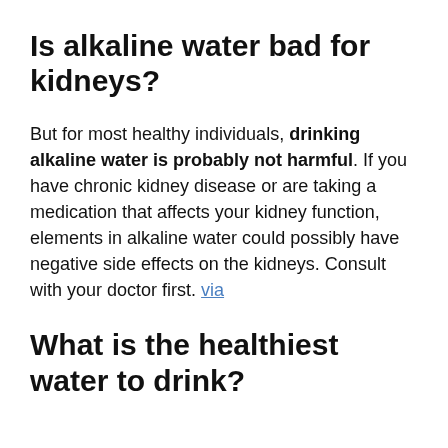Is alkaline water bad for kidneys?
But for most healthy individuals, drinking alkaline water is probably not harmful. If you have chronic kidney disease or are taking a medication that affects your kidney function, elements in alkaline water could possibly have negative side effects on the kidneys. Consult with your doctor first. via
What is the healthiest water to drink?